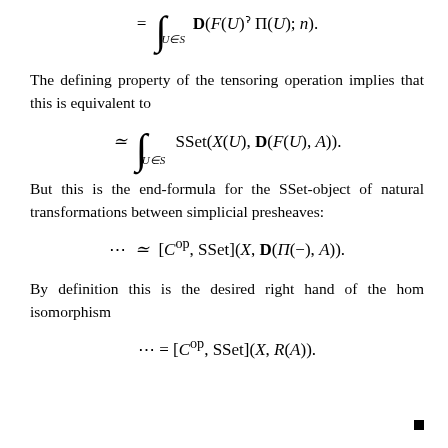The defining property of the tensoring operation implies that this is equivalent to
But this is the end-formula for the SSet-object of natural transformations between simplicial presheaves:
By definition this is the desired right hand of the hom isomorphism